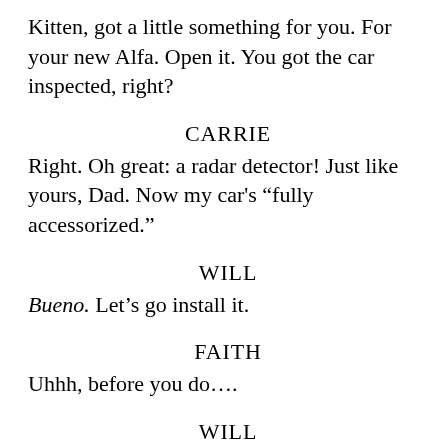Kitten, got a little something for you. For your new Alfa. Open it. You got the car inspected, right?
CARRIE
Right. Oh great: a radar detector! Just like yours, Dad. Now my car's “fully accessorized.”
WILL
Bueno. Let’s go install it.
FAITH
Uhhh, before you do....
WILL